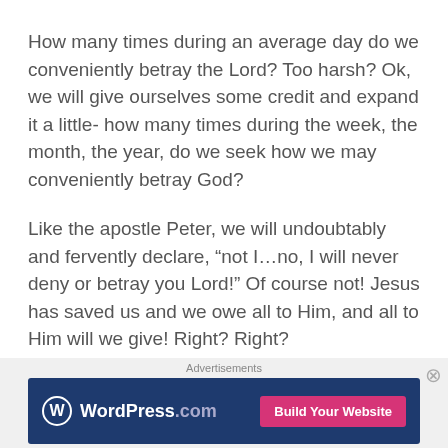How many times during an average day do we conveniently betray the Lord? Too harsh? Ok, we will give ourselves some credit and expand it a little- how many times during the week, the month, the year, do we seek how we may conveniently betray God?
Like the apostle Peter, we will undoubtably and fervently declare, “not I…no, I will never deny or betray you Lord!” Of course not! Jesus has saved us and we owe all to Him, and all to Him will we give! Right? Right?
Are we sure we do not daily betray Him?
[Figure (other): WordPress.com advertisement banner with blue background, WordPress logo, and pink 'Build Your Website' button]